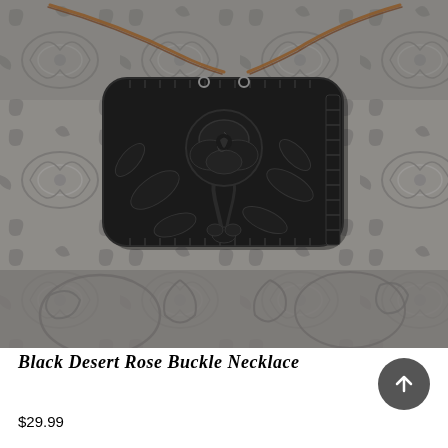[Figure (photo): Product photo of a black desert rose buckle necklace. A rectangular black metal pendant with ornate rose and leaf cutwork design hangs from a copper/brown chain against a grey embossed floral tooled leather background.]
Black Desert Rose Buckle Necklace
$29.99